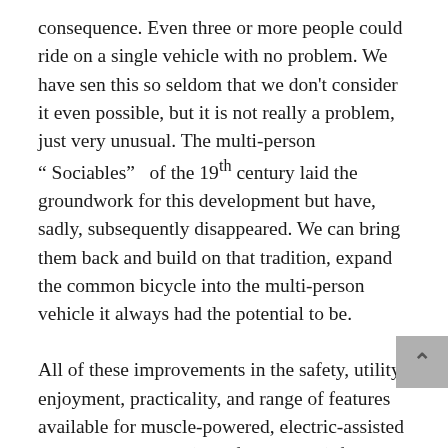consequence. Even three or more people could ride on a single vehicle with no problem. We have sen this so seldom that we don't consider it even possible, but it is not really a problem, just very unusual. The multi-person " Sociables" of the 19th century laid the groundwork for this development but have, sadly, subsequently disappeared. We can bring them back and build on that tradition, expand the common bicycle into the multi-person vehicle it always had the potential to be.
All of these improvements in the safety, utility, enjoyment, practicality, and range of features available for muscle-powered, electric-assisted vehicles, primarily (hopefully shared) futuristic tricycles, are ready to be deployed today. They will change the expectations that we have for the most appropriate use of materials and resources that we, in any event, need to cultivate for our own benefit and